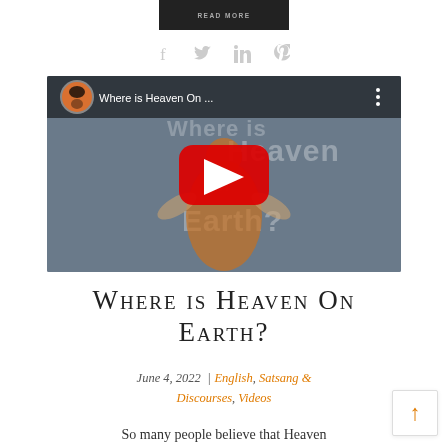[Figure (screenshot): Dark button/banner at top with 'READ MORE' text]
[Figure (infographic): Row of social sharing icons: Facebook, Twitter, LinkedIn, Pinterest in light gray]
[Figure (screenshot): YouTube video thumbnail for 'Where is Heaven On...' showing a woman in orange robes with arms raised, with YouTube play button overlay]
Where is Heaven On Earth?
June 4, 2022  |  English, Satsang & Discourses, Videos
So many people believe that Heaven